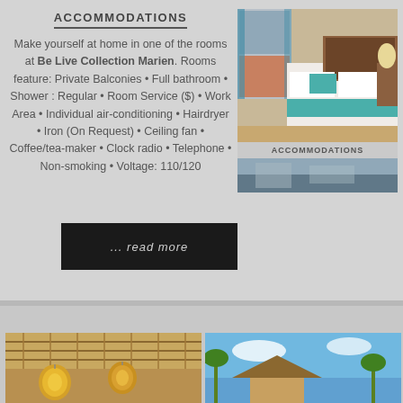ACCOMMODATIONS
Make yourself at home in one of the rooms at Be Live Collection Marien. Rooms feature: Private Balconies • Full bathroom • Shower : Regular • Room Service ($) • Work Area • Individual air-conditioning • Hairdryer • Iron (On Request) • Ceiling fan • Coffee/tea-maker • Clock radio • Telephone • Non-smoking • Voltage: 110/120
[Figure (photo): Hotel room with bed, teal accent pillow, wooden headboard and furniture, exterior view visible through window; labeled ACCOMMODATIONS]
... read more
[Figure (photo): Bottom section showing two cropped photos: left with woven thatched ceiling/lanterns, right with thatched roof hut and blue sky]